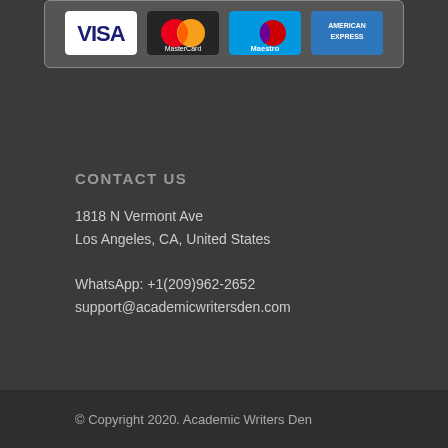[Figure (logo): Payment method logos: Visa, MasterCard, Maestro, American Express displayed in a rounded dark box]
CONTACT US
1818 N Vermont Ave
Los Angeles, CA, United States
WhatsApp: +1(209)962-2652
support@academicwritersden.com
© Copyright 2020. Academic Writers Den